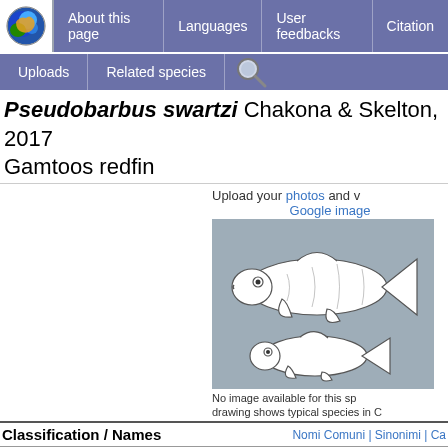About this page | Languages | User feedbacks | Citation | Uploads | Related species
Pseudobarbus swartzi Chakona & Skelton, 2017 Gamtoos redfin
Upload your photos and v
Google image
[Figure (illustration): Drawing of two fish (Cyprinidae type) shown on gray background, dorsal view and lateral view. White/line art style fish illustrations on gray background.]
No image available for this sp drawing shows typical species in C
Classification / Names
Nomi Comuni | Sinonimi | Ca
> Cypriniformes (Carps) > Cyprinidae (Minnows or carps) > Smili
Etymology: Pseudobarbus: Greek, pseudes = false + Latin, barbus